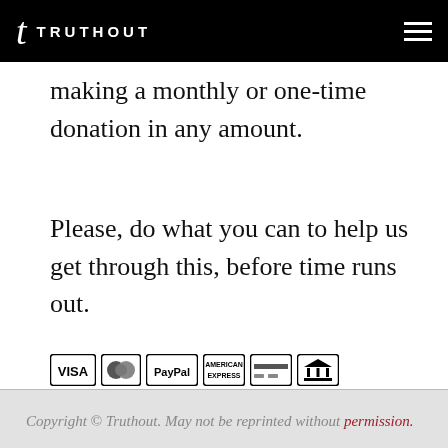TRUTHOUT
making a monthly or one-time donation in any amount.
Please, do what you can to help us get through this, before time runs out.
[Figure (other): Payment method icons: VISA, Mastercard, PayPal, American Express, credit card, bank]
[Figure (other): Red donate button with text DONATE NOW]
Copyright © Truthout. May not be reprinted without permission.